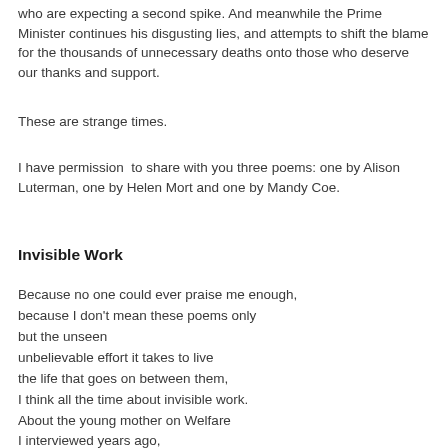who are expecting a second spike. And meanwhile the Prime Minister continues his disgusting lies, and attempts to shift the blame for the thousands of unnecessary deaths onto those who deserve our thanks and support.
These are strange times.
I have permission  to share with you three poems: one by Alison Luterman, one by Helen Mort and one by Mandy Coe.
Invisible Work
Because no one could ever praise me enough,
because I don't mean these poems only
but the unseen
unbelievable effort it takes to live
the life that goes on between them,
I think all the time about invisible work.
About the young mother on Welfare
I interviewed years ago,
who said, "It's hard,